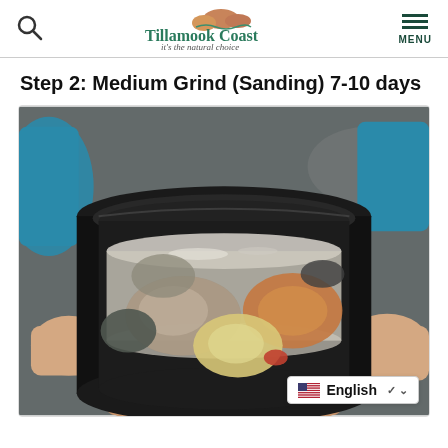Tillamook Coast — it's the natural choice
Step 2: Medium Grind (Sanding) 7-10 days
[Figure (photo): Hands holding a black rock tumbler barrel containing several rough stones/agates submerged in milky white slurry liquid, showing the medium grind sanding stage of rock polishing.]
English